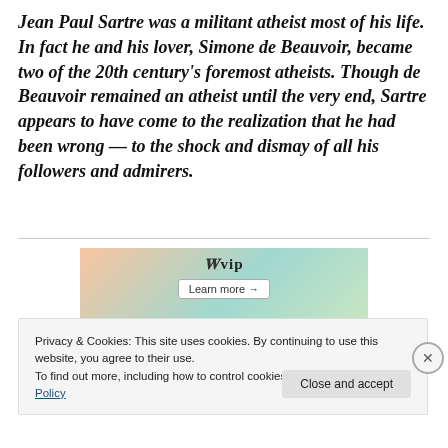Jean Paul Sartre was a militant atheist most of his life. In fact he and his lover, Simone de Beauvoir, became two of the 20th century's foremost atheists. Though de Beauvoir remained an atheist until the very end, Sartre appears to have come to the realization that he had been wrong — to the shock and dismay of all his followers and admirers.
[Figure (other): Advertisement banner for WordPress VIP with colorful background and 'Learn more' button]
Privacy & Cookies: This site uses cookies. By continuing to use this website, you agree to their use.
To find out more, including how to control cookies, see here: Cookie Policy
Close and accept